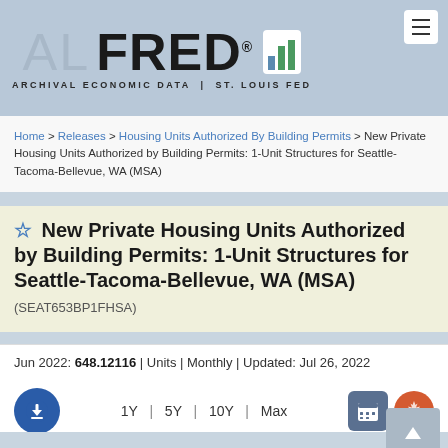[Figure (logo): ALFRED - Archival Economic Data | St. Louis Fed logo with bar chart icon]
Home > Releases > Housing Units Authorized By Building Permits > New Private Housing Units Authorized by Building Permits: 1-Unit Structures for Seattle-Tacoma-Bellevue, WA (MSA)
New Private Housing Units Authorized by Building Permits: 1-Unit Structures for Seattle-Tacoma-Bellevue, WA (MSA) (SEAT653BP1FHSA)
Jun 2022: 648.12116 | Units | Monthly | Updated: Jul 26, 2022
1Y | 5Y | 10Y | Max